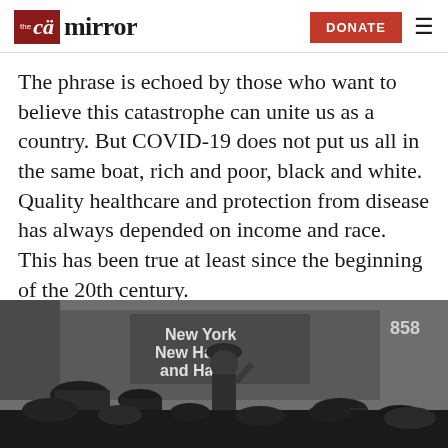the CT mirror | DONATE
The phrase is echoed by those who want to believe this catastrophe can unite us as a country. But COVID-19 does not put us all in the same boat, rich and poor, black and white. Quality healthcare and protection from disease has always depended on income and race. This has been true at least since the beginning of the 20th century.
[Figure (photo): Black and white historical photograph showing a crowd of people at what appears to be a train station. A man in a bowler hat and suit stands in the center gesturing. A New York New Haven and Hartford railroad sign is visible in the background. Number 858 is visible.]